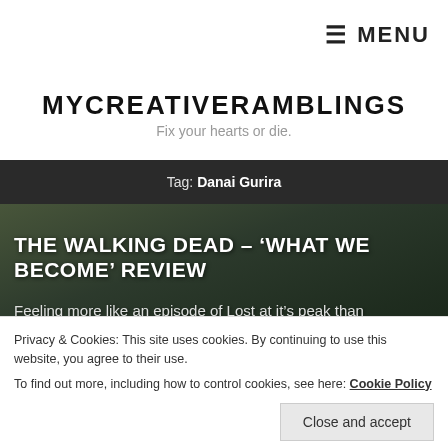≡ MENU
MYCREATIVERAMBLINGS
Fix your hearts or die.
Tag: Danai Gurira
[Figure (photo): Dark forest background image for The Walking Dead article]
THE WALKING DEAD – 'WHAT WE BECOME' REVIEW
Feeling more like an episode of Lost at it's peak than
Privacy & Cookies: This site uses cookies. By continuing to use this website, you agree to their use.
To find out more, including how to control cookies, see here: Cookie Policy
Close and accept
Read More